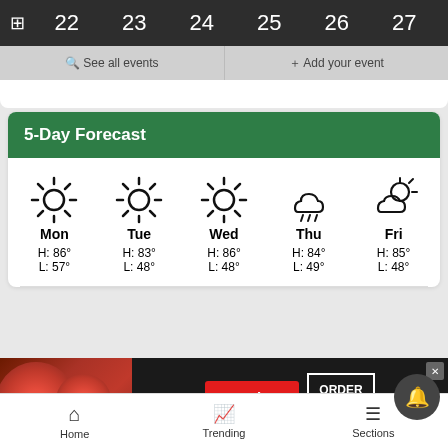[Figure (screenshot): Calendar strip showing days 22-27 in dark background]
See all events   + Add your event
5-Day Forecast
[Figure (infographic): 5-Day weather forecast showing Mon-Fri with weather icons and temperatures. Mon: H:86° L:57°, Tue: H:83° L:48°, Wed: H:86° L:48°, Thu: H:84° L:49°, Fri: H:85° L:48°]
[Figure (photo): Seamless food delivery advertisement with pizza photo, red Seamless badge, and ORDER NOW button]
Home   Trending   Sections